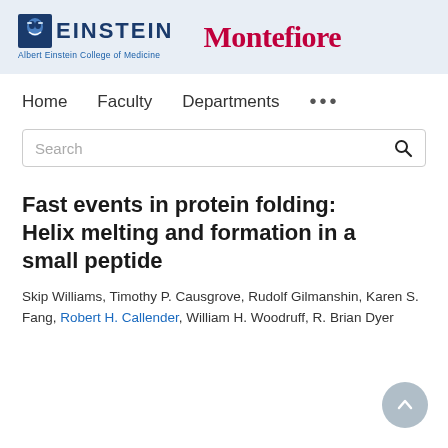[Figure (logo): Einstein (Albert Einstein College of Medicine) and Montefiore institutional logos on a light blue header band]
Home   Faculty   Departments   ...
Search
Fast events in protein folding: Helix melting and formation in a small peptide
Skip Williams, Timothy P. Causgrove, Rudolf Gilmanshin, Karen S. Fang, Robert H. Callender, William H. Woodruff, R. Brian Dyer